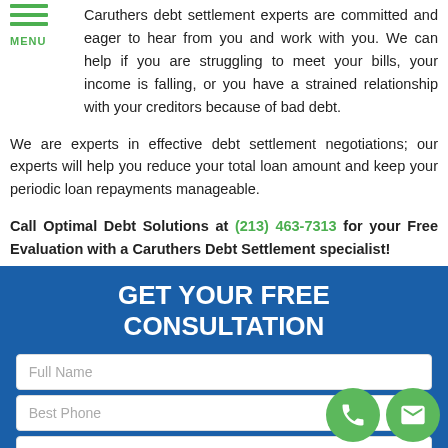Caruthers debt settlement experts are committed and eager to hear from you and work with you. We can help if you are struggling to meet your bills, your income is falling, or you have a strained relationship with your creditors because of bad debt.
We are experts in effective debt settlement negotiations; our experts will help you reduce your total loan amount and keep your periodic loan repayments manageable.
Call Optimal Debt Solutions at (213) 463-7313 for your Free Evaluation with a Caruthers Debt Settlement specialist!
[Figure (infographic): Blue form box with 'GET YOUR FREE CONSULTATION' heading and three input fields: Full Name, Best Phone, Email Address. Two circular green icons (phone and email) in the bottom right corner.]